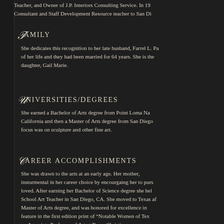Teacher, and Owner of J.P. Interiors Consulting Service. In 19... Consultant and Staff Development Resource teacher to San Di...
Family
She dedicates this recognition to her late husband, Farrel L. Pa... of her life and they had been married for 64 years. She is the... daughter, Gail Marie.
Universities/Degrees
She earned a Bachelor of Arts degree from Point Loma Na... California and then a Master of Arts degree from San Diego... focus was on sculpture and other fine art.
Career Accomplishments
She was drawn to the arts at an early age. Her mother,... insturmental in her career choice by encourgaing her to purs... loved. After earning her Bachelor of Science degree she held... School Art Teacher in San Diego, CA. She moved to Texas aft... Master of Arts degree, and was honored for excellence in... feature in the first edition print of "Notable Women of Texa...